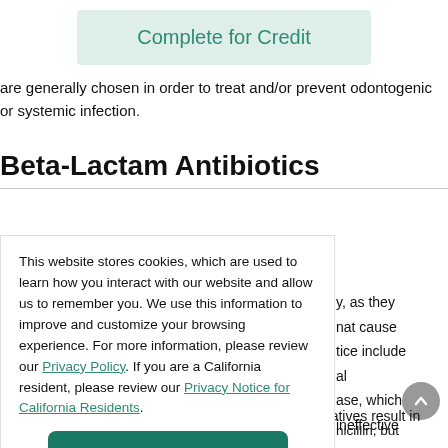[Figure (other): Complete for Credit button - teal text on light teal/grey background]
are generally chosen in order to treat and/or prevent odontogenic or systemic infection.
Beta-Lactam Antibiotics
This website stores cookies, which are used to learn how you interact with our website and allow us to remember you. We use this information to improve and customize your browsing experience. For more information, please review our Privacy Policy. If you are a California resident, please review our Privacy Notice for California Residents.
[Figure (other): Accept button - white text on dark teal background]
y, as they nat cause tice include al ase, which ineffective
nicillin, but on [23,51].
While most allergic reactions to penicillin and its derivatives result in skin rashes